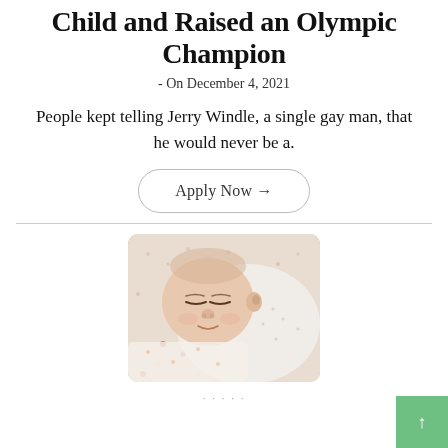Child and Raised an Olympic Champion
- On December 4, 2021
People kept telling Jerry Windle, a single gay man, that he would never be a.
Apply Now →
[Figure (photo): A sleeping newborn baby wrapped in a white patterned swaddle, resting on a patterned blanket]